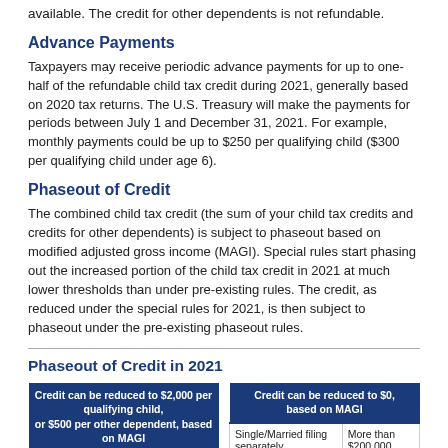available. The credit for other dependents is not refundable.
Advance Payments
Taxpayers may receive periodic advance payments for up to one-half of the refundable child tax credit during 2021, generally based on 2020 tax returns. The U.S. Treasury will make the payments for periods between July 1 and December 31, 2021. For example, monthly payments could be up to $250 per qualifying child ($300 per qualifying child under age 6).
Phaseout of Credit
The combined child tax credit (the sum of your child tax credits and credits for other dependents) is subject to phaseout based on modified adjusted gross income (MAGI). Special rules start phasing out the increased portion of the child tax credit in 2021 at much lower thresholds than under pre-existing rules. The credit, as reduced under the special rules for 2021, is then subject to phaseout under the pre-existing phaseout rules.
Phaseout of Credit in 2021
| Credit can be reduced to $2,000 per qualifying child, or $500 per other dependent, based on MAGI |  |
| --- | --- |
| Single/Married filing separately | Over $75,000 to $200,000 |
| Married filing jointly | Over $150,000 to $400,000 |
| Credit can be reduced to $0, based on MAGI |  |
| --- | --- |
| Single/Married filing separately | More than $200,000 |
| Married filing jointly | More than $400,000 |